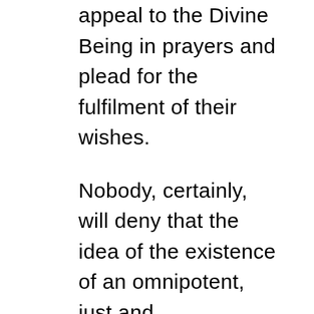appeal to the Divine Being in prayers and plead for the fulfilment of their wishes.
Nobody, certainly, will deny that the idea of the existence of an omnipotent, just and omnibeneficent personal God is able to accord man solace, help, and guidance; also, by virtue of its simplicity it is accessible to the most undeveloped mind. But, on the other hand, there are decisive weaknesses attached to this idea in itself, which have been painfully felt